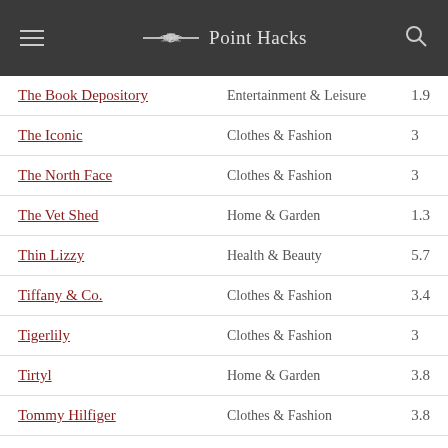Point Hacks
| Store | Category | Rate |
| --- | --- | --- |
| The Book Depository | Entertainment & Leisure | 1.9 |
| The Iconic | Clothes & Fashion | 3 |
| The North Face | Clothes & Fashion | 3 |
| The Vet Shed | Home & Garden | 1.3 |
| Thin Lizzy | Health & Beauty | 5.7 |
| Tiffany & Co. | Clothes & Fashion | 3.4 |
| Tigerlily | Clothes & Fashion | 3 |
| Tirtyl | Home & Garden | 3.8 |
| Tommy Hilfiger | Clothes & Fashion | 3.8 |
| Tontine | Home & Garden | 3.8 |
| Tofoo T… | Travel | … |